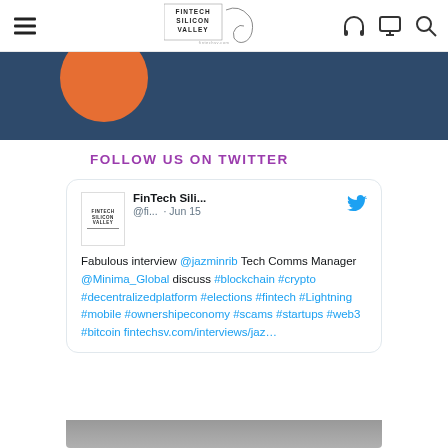FinTech Silicon Valley — navigation header with logo, hamburger menu, headphone icon, monitor icon, search icon
[Figure (illustration): Dark blue hero banner with orange circle element on left side]
FOLLOW US ON TWITTER
[Figure (screenshot): Embedded tweet from FinTech Sili... @fi... · Jun 15. Text: Fabulous interview @jazminrib Tech Comms Manager @Minima_Global discuss #blockchain #crypto #decentralizedplatform #elections #fintech #Lightning #mobile #ownershipeconomy #scams #startups #web3 #bitcoin fintechsv.com/interviews/jaz…]
[Figure (photo): Partial photo strip at bottom of tweet card showing a person]